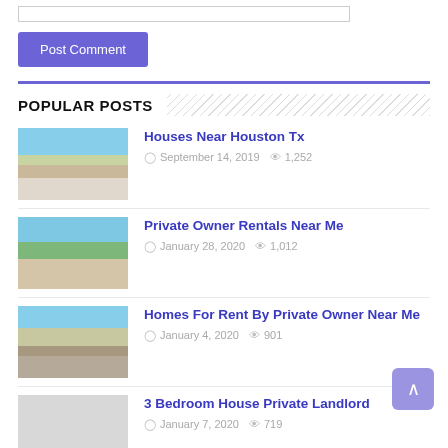[Figure (screenshot): Top of page showing a text input bar and a purple 'Post Comment' button]
POPULAR POSTS
Houses Near Houston Tx — September 14, 2019 — 1,252 views
Private Owner Rentals Near Me — January 28, 2020 — 1,012 views
Homes For Rent By Private Owner Near Me — January 4, 2020 — 901 views
3 Bedroom House Private Landlord — January 7, 2020 — 719 views
Cheap Home Near Me (partial)